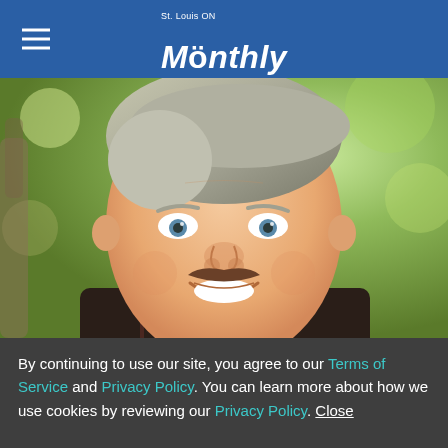St. Louis ON Monthly
[Figure (photo): Close-up portrait of a smiling middle-aged man with short blond/grey hair, a brown mustache, blue eyes, and wearing a dark plaid shirt, photographed outdoors with a blurred green background.]
By continuing to use our site, you agree to our Terms of Service and Privacy Policy. You can learn more about how we use cookies by reviewing our Privacy Policy. Close